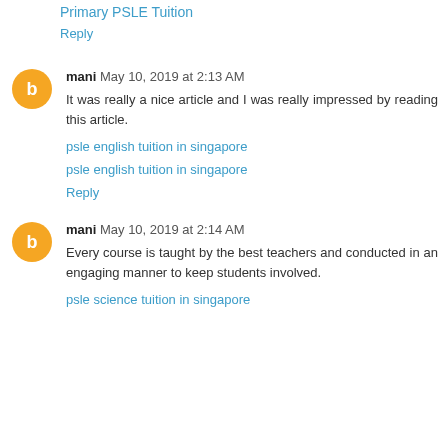Primary PSLE Tuition
Reply
mani May 10, 2019 at 2:13 AM
It was really a nice article and I was really impressed by reading this article.
psle english tuition in singapore
psle english tuition in singapore
Reply
mani May 10, 2019 at 2:14 AM
Every course is taught by the best teachers and conducted in an engaging manner to keep students involved.
psle science tuition in singapore